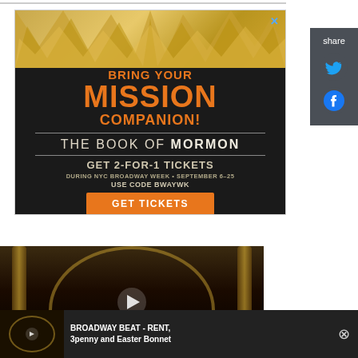[Figure (illustration): Advertisement for The Book of Mormon Broadway show. Gold spiky burst background at top. Orange text reads 'BRING YOUR MISSION COMPANION!' with large 'MISSION' text. Below: 'THE BOOK OF MORMON' in grey/white letters. 'GET 2-FOR-1 TICKETS' in orange. 'DURING NYC BROADWAY WEEK • SEPTEMBER 6-25' and 'USE CODE BWAYWK'. Orange button: 'GET TICKETS'. Close X button top right.]
[Figure (illustration): Share sidebar with dark grey background showing 'share' text, Twitter bird icon, and Facebook circle icon.]
FAME WHORE is Coming to Kings
[Figure (screenshot): Dark theater interior video thumbnail with golden arch and stage lighting, play button overlay.]
BROADWAY BEAT - RENT, 3penny and Easter Bonnet